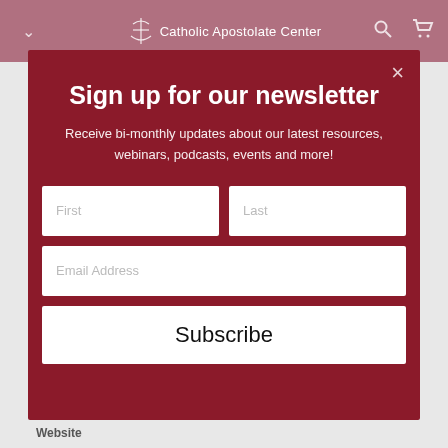Catholic Apostolate Center
Sign up for our newsletter
Receive bi-monthly updates about our latest resources, webinars, podcasts, events and more!
[Figure (screenshot): Newsletter signup form with First, Last, Email Address input fields and a Subscribe button]
Website